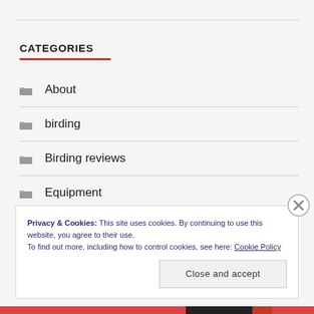CATEGORIES
About
birding
Birding reviews
Equipment
Privacy & Cookies: This site uses cookies. By continuing to use this website, you agree to their use.
To find out more, including how to control cookies, see here: Cookie Policy
Close and accept